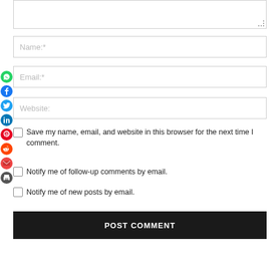[Figure (screenshot): Textarea input field at top of comment form]
Name:*
Email:*
Website:
Save my name, email, and website in this browser for the next time I comment.
Notify me of follow-up comments by email.
Notify me of new posts by email.
POST COMMENT